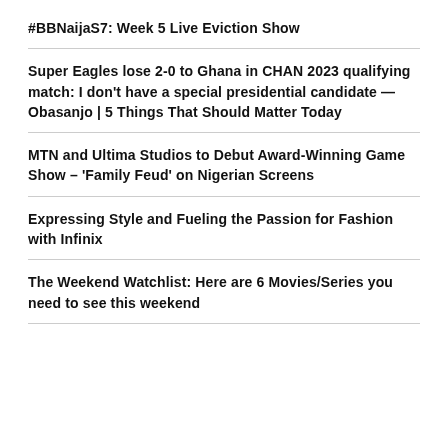#BBNaijaS7: Week 5 Live Eviction Show
Super Eagles lose 2-0 to Ghana in CHAN 2023 qualifying match: I don't have a special presidential candidate — Obasanjo | 5 Things That Should Matter Today
MTN and Ultima Studios to Debut Award-Winning Game Show – 'Family Feud' on Nigerian Screens
Expressing Style and Fueling the Passion for Fashion with Infinix
The Weekend Watchlist: Here are 6 Movies/Series you need to see this weekend